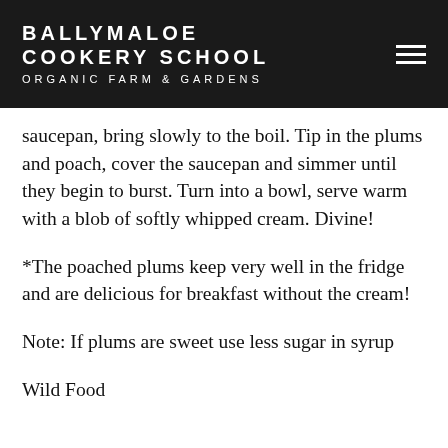BALLYMALOE COOKERY SCHOOL ORGANIC FARM & GARDENS
saucepan, bring slowly to the boil. Tip in the plums and poach, cover the saucepan and simmer until they begin to burst. Turn into a bowl, serve warm with a blob of softly whipped cream. Divine!
*The poached plums keep very well in the fridge and are delicious for breakfast without the cream!
Note: If plums are sweet use less sugar in syrup
Wild Food